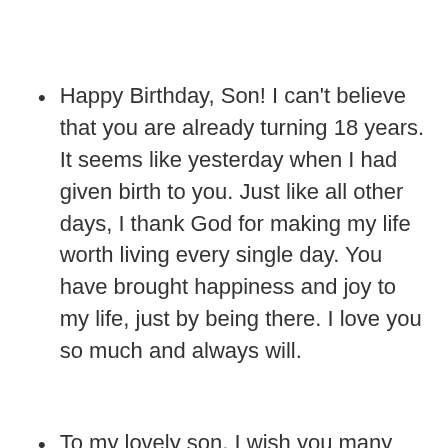Happy Birthday, Son! I can't believe that you are already turning 18 years. It seems like yesterday when I had given birth to you. Just like all other days, I thank God for making my life worth living every single day. You have brought happiness and joy to my life, just by being there. I love you so much and always will.
To my lovely son, I wish you many things on your sweet and special day.